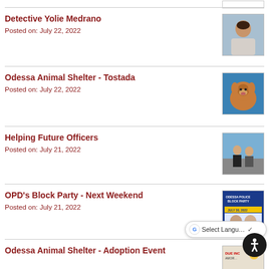Detective Yolie Medrano
Posted on: July 22, 2022
[Figure (photo): Photo of Detective Yolie Medrano, a woman in a patterned top]
Odessa Animal Shelter - Tostada
Posted on: July 22, 2022
[Figure (photo): Photo of a brown and black dog named Tostada]
Helping Future Officers
Posted on: July 21, 2022
[Figure (photo): Photo of two people standing outdoors near a vehicle]
OPD's Block Party - Next Weekend
Posted on: July 21, 2022
[Figure (photo): Odessa Police Block Party flyer, July 30, 2022]
Odessa Animal Shelter - Adoption Event
[Figure (photo): Adoption event flyer with animals]